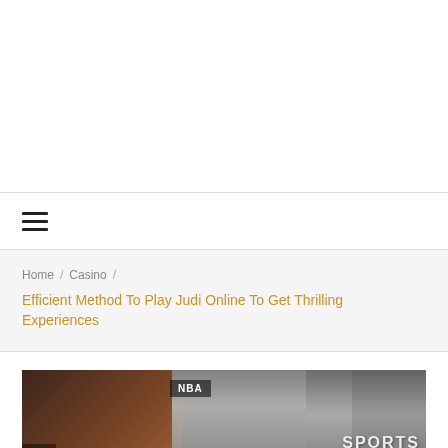≡
Home / Casino / Efficient Method To Play Judi Online To Get Thrilling Experiences
[Figure (photo): Sports/NBA photo collage with dark background, NBA badge, and SPORTS text overlay]